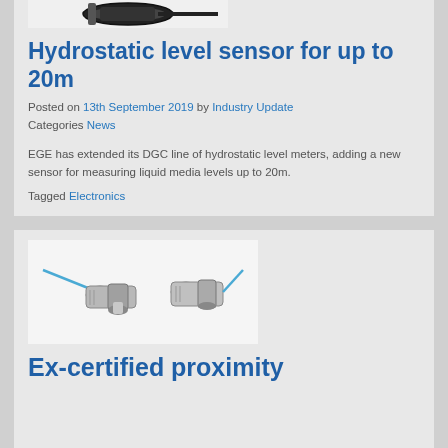[Figure (photo): Partial photo of a hydrostatic level sensor cable/connector at top of card, cropped]
Hydrostatic level sensor for up to 20m
Posted on 13th September 2019 by Industry Update
Categories News
EGE has extended its DGC line of hydrostatic level meters, adding a new sensor for measuring liquid media levels up to 20m.
Tagged Electronics
[Figure (photo): Two Ex-certified proximity sensors, cylindrical metal body with blue cable]
Ex-certified proximity